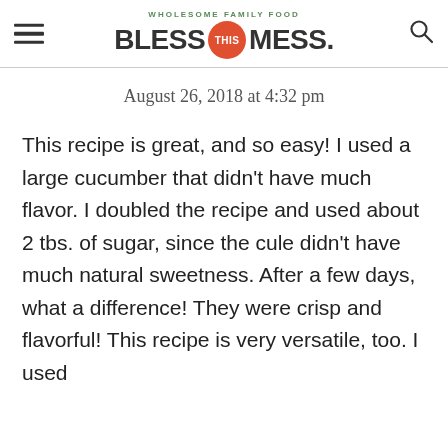WHOLESOME FAMILY FOOD — BLESS THIS MESS.
August 26, 2018 at 4:32 pm
This recipe is great, and so easy! I used a large cucumber that didn't have much flavor. I doubled the recipe and used about 2 tbs. of sugar, since the cule didn't have much natural sweetness. After a few days, what a difference! They were crisp and flavorful! This recipe is very versatile, too. I used